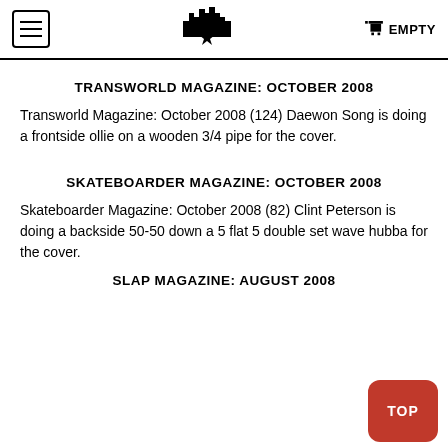EMPTY
TRANSWORLD MAGAZINE: OCTOBER 2008
Transworld Magazine: October 2008 (124) Daewon Song is doing a frontside ollie on a wooden 3/4 pipe for the cover.
SKATEBOARDER MAGAZINE: OCTOBER 2008
Skateboarder Magazine: October 2008 (82) Clint Peterson is doing a backside 50-50 down a 5 flat 5 double set wave hubba for the cover.
SLAP MAGAZINE: AUGUST 2008